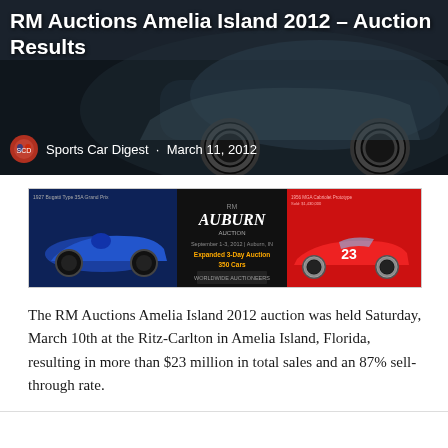RM Auctions Amelia Island 2012 – Auction Results
Sports Car Digest · March 11, 2012
[Figure (photo): Advertisement banner for Auburn Auction featuring a blue vintage race car on the left, Auburn Auction text and details in the center, and a red sports car on the right]
The RM Auctions Amelia Island 2012 auction was held Saturday, March 10th at the Ritz-Carlton in Amelia Island, Florida, resulting in more than $23 million in total sales and an 87% sell-through rate.